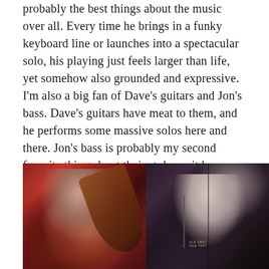probably the best things about the music over all. Every time he brings in a funky keyboard line or launches into a spectacular solo, his playing just feels larger than life, yet somehow also grounded and expressive. I'm also a big fan of Dave's guitars and Jon's bass. Dave's guitars have meat to them, and he performs some massive solos here and there. Jon's bass is probably my second favorite thing about their style, as it bounces and throbs with deep life and enthusiasm. Technically speaking, this album is flawless. These are seasoned and expressive musicians.
[Figure (photo): Two-panel concert photo: left panel shows a male musician playing bass guitar, wearing a hat and red jacket, mouth open singing; right panel shows a long-haired male musician singing into a microphone wearing a black t-shirt that reads OLD GREY ISLE TEST]